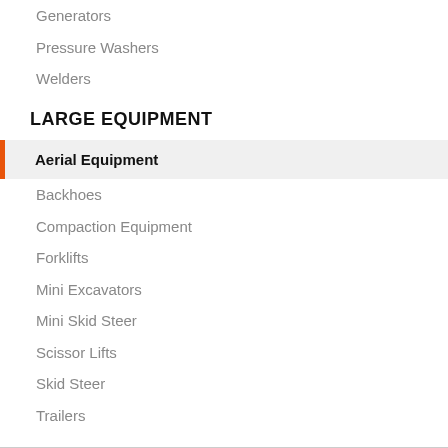Generators
Pressure Washers
Welders
LARGE EQUIPMENT
Aerial Equipment
Backhoes
Compaction Equipment
Forklifts
Mini Excavators
Mini Skid Steer
Scissor Lifts
Skid Steer
Trailers